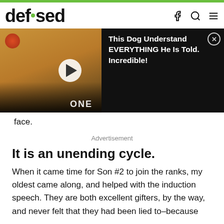defused
[Figure (screenshot): Video thumbnail showing a dog with a play button overlay, alongside a black ad overlay popup reading 'This Dog Understand EVERYTHING He Is Told. Incredible!' with a close button]
face.
Advertisement
It is an unending cycle.
When it came time for Son #2 to join the ranks, my oldest came along, and helped with the induction speech. They are both excellent gifters, by the way, and never felt that they had been lied to–because